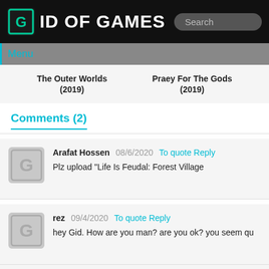GID OF GAMES
Menu
The Outer Worlds (2019)   Praey For The Gods (2019)
Comments (2)
Arafat Hossen 08/6/2020 To quote Reply
Plz upload "Life Is Feudal: Forest Village
rez 09/4/2020 To quote Reply
hey Gid. How are you man? are you ok? you seem qu
Add a new comment